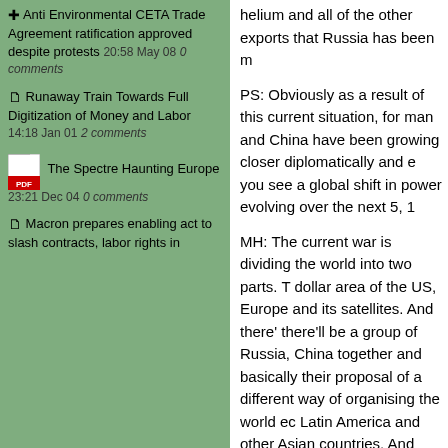Anti Environmental CETA Trade Agreement ratification approved despite protests 20:58 May 08 0 comments
Runaway Train Towards Full Digitization of Money and Labor 14:18 Jan 01 2 comments
The Spectre Haunting Europe 23:21 Dec 04 0 comments
Macron prepares enabling act to slash contracts, labor rights in
helium and all of the other exports that Russia has been m
PS: Obviously as a result of this current situation, for man and China have been growing closer diplomatically and e you see a global shift in power evolving over the next 5, 1
MH: The current war is dividing the world into two parts. T dollar area of the US, Europe and its satellites. And there' there'll be a group of Russia, China together and basically their proposal of a different way of organising the world ec Latin America and other Asian countries. And other Asian America and the global south will see that it can get a bet China than it can get with the United States.
PS: On the flip side of that coin, one could argue that the order, has only been cemented by this war. You see NATO ever, you see Europe more aligned than ever. You see Fin the brink, perhaps, of joining NATO. What would your resp Michael?
MH: This integration of Europe into the United States sphe Berlin Wall. It's isolated the US from the whole rest of the victory for the United States it's self-isolated itself because realised that they're losing the economic war with China, b group of emerging nations. All they can try to do is hold on source of income to exploit from Europe what it can no lon country.
PS: As well as being a war on the ground, this is obviously yourself have noted that Nord Stream 2 (the gas pipeline Germany) was one of the first victims of this crisis. To wha